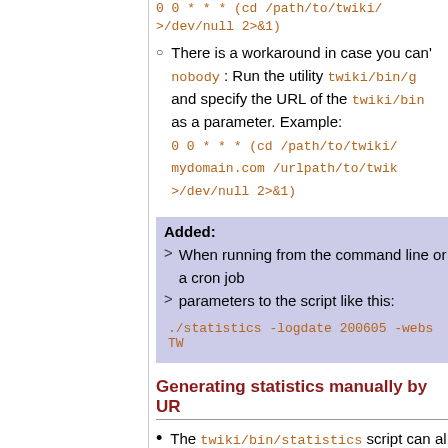0 0 * * * (cd /path/to/twiki/ >/dev/null 2>&1)
There is a workaround in case you can't nobody : Run the utility twiki/bin/g and specify the URL of the twiki/bin as a parameter. Example: 0 0 * * * (cd /path/to/twiki/ mydomain.com /urlpath/to/twik >/dev/null 2>&1)
Added: When running from the command line or a cron job parameters to the script like this: ./statistics -logdate 200605 -webs TW
Generating statistics manually by UR
The twiki/bin/statistics script can al